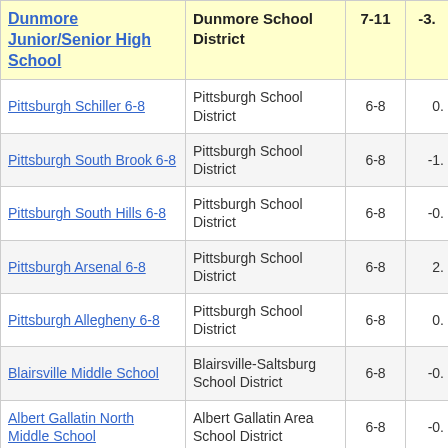| School | District | Grades | Score |
| --- | --- | --- | --- |
| Dunmore Junior/Senior High School | Dunmore School District | 7-11 | -3. |
| Pittsburgh Schiller 6-8 | Pittsburgh School District | 6-8 | 0. |
| Pittsburgh South Brook 6-8 | Pittsburgh School District | 6-8 | -1. |
| Pittsburgh South Hills 6-8 | Pittsburgh School District | 6-8 | -0. |
| Pittsburgh Arsenal 6-8 | Pittsburgh School District | 6-8 | 2. |
| Pittsburgh Allegheny 6-8 | Pittsburgh School District | 6-8 | 0. |
| Blairsville Middle School | Blairsville-Saltsburg School District | 6-8 | -0. |
| Albert Gallatin North Middle School | Albert Gallatin Area School District | 6-8 | -0. |